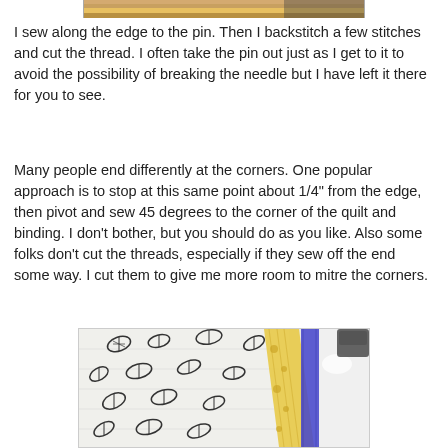[Figure (photo): Partial view of a quilt with black leaf/floral pattern on white background and yellow binding near a sewing machine, top crop]
I sew along the edge to the pin. Then I backstitch a few stitches and cut the thread. I often take the pin out just as I get to it to avoid the possibility of breaking the needle but I have left it there for you to see.
Many people end differently at the corners. One popular approach is to stop at this same point about 1/4" from the edge, then pivot and sew 45 degrees to the corner of the quilt and binding. I don't bother, but you should do as you like. Also some folks don't cut the threads, especially if they sew off the end some way. I cut them to give me more room to mitre the corners.
[Figure (photo): Close-up photo of a quilt with black leaf/butterfly pattern on white fabric, yellow floral binding, and blue painter's tape on a white surface near a sewing machine]